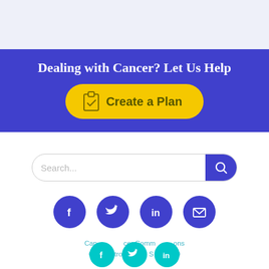[Figure (other): Light blue/lavender banner band at top of page]
Dealing with Cancer? Let Us Help
[Figure (other): Yellow rounded button with clipboard checkmark icon and text 'Create a Plan']
[Figure (other): Search bar with placeholder 'Search...' and blue search button with magnifying glass icon]
[Figure (other): Row of four blue social media circle icons: Facebook, Twitter, LinkedIn, Email]
Cancer Commons
650 Castro Street, Suite 120
[Figure (other): Row of three cyan/teal social media circle icons overlapping footer text: Facebook, Twitter, LinkedIn]